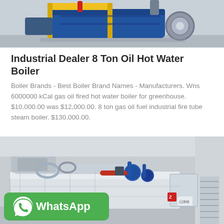[Figure (photo): Industrial boiler equipment photo — blue cylindrical boiler with yellow frame on a stand, viewed from the side in a warehouse setting]
Industrial Dealer 8 Ton Oil Hot Water Boiler
Boiler Brands - Best Boiler Brand Names - Manufacturers. Wns 6000000 kCal gas oil fired hot water boiler for greenhouse. $10,000.00 was $12,000.00. 8 ton gas oil fuel industrial fire tube steam boiler. $130,000.00.
Get Price
[Figure (photo): Industrial fire tube steam boiler installation inside a factory — large silver/white horizontal boiler with blue pump components, red pipes, ventilation ducts, and metal staircase on right; WhatsApp contact button overlaid in green]